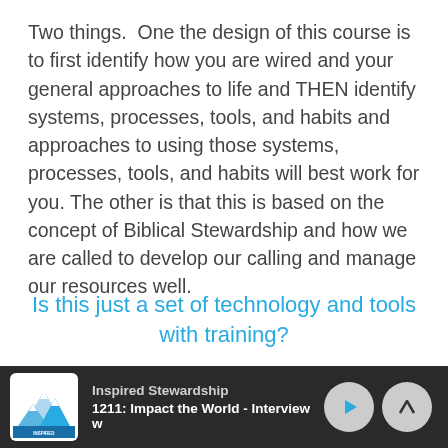Two things.  One the design of this course is to first identify how you are wired and your general approaches to life and THEN identify systems, processes, tools, and habits and approaches to using those systems, processes, tools, and habits will best work for you. The other is that this is based on the concept of Biblical Stewardship and how we are called to develop our calling and manage our resources well.
Is this just a set of technology and tools with training?
Inspired Stewardship | 1211: Impact the World - Interview w